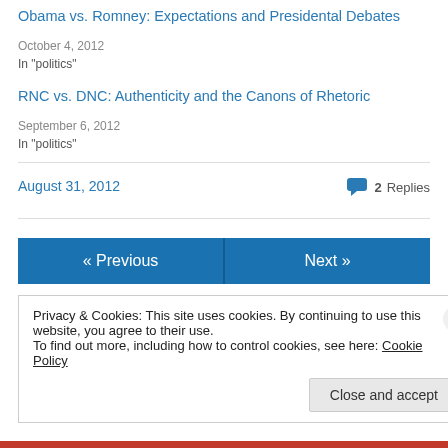Obama vs. Romney: Expectations and Presidental Debates
October 4, 2012
In "politics"
RNC vs. DNC: Authenticity and the Canons of Rhetoric
September 6, 2012
In "politics"
August 31, 2012
2 Replies
« Previous
Next »
Privacy & Cookies: This site uses cookies. By continuing to use this website, you agree to their use.
To find out more, including how to control cookies, see here: Cookie Policy
Close and accept